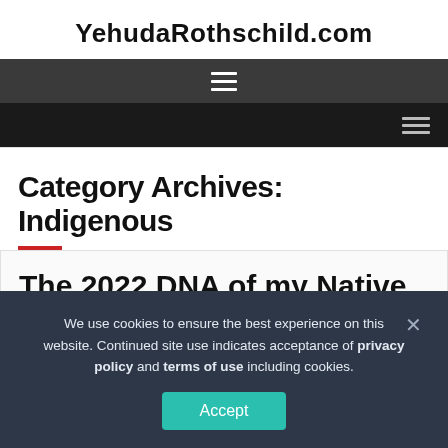YehudaRothschild.com
[Figure (screenshot): Dark navigation bar with hamburger menu icon (three horizontal white lines) centered on a dark gray background]
[Figure (screenshot): Darker navigation bar with hamburger menu icon (three horizontal lines) aligned to the right]
Category Archives: Indigenous
The 2022 DNA of my Native
We use cookies to ensure the best experience on this website. Continued site use indicates acceptance of privacy policy and terms of use including cookies.